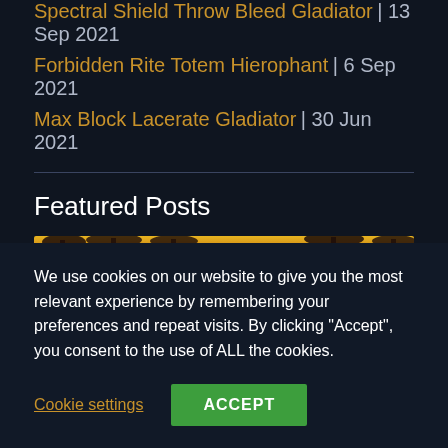Spectral Shield Throw Bleed Gladiator | 13 Sep 2021
Forbidden Rite Totem Hierophant | 6 Sep 2021
Max Block Lacerate Gladiator | 30 Jun 2021
Featured Posts
[Figure (photo): A warm golden sunset scene with silhouetted palm trees against an orange and yellow sky]
We use cookies on our website to give you the most relevant experience by remembering your preferences and repeat visits. By clicking "Accept", you consent to the use of ALL the cookies.
Cookie settings | ACCEPT